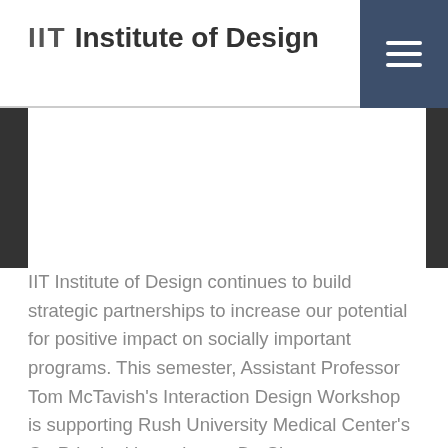IIT Institute of Design
IIT Institute of Design continues to build strategic partnerships to increase our potential for positive impact on socially important programs. This semester, Assistant Professor Tom McTavish's Interaction Design Workshop is supporting Rush University Medical Center's Co-Principal investigator, Dr. Shyam Prabhakaran, a stroke neurologist at Northwestern Memorial Hospital and Co-Principle Investigator, and Dr. Knitasha Washington, Community Principle Investigator for the federally funded